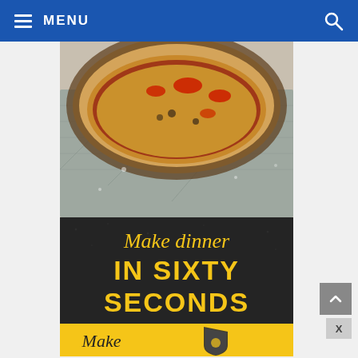MENU
[Figure (photo): Artisan pizza on a metal pizza peel with tomatoes and golden crust, viewed from above]
[Figure (infographic): Advertisement banner on dark background with yellow text reading 'Make dinner IN SIXTY SECONDS Make [logo]' with yellow strip at bottom]